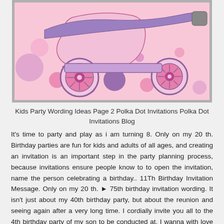[Figure (illustration): A colorful illustration of a roller skate with purple and pink polka dot background. The skate has decorative sunflower-like wheels and a purple ribbon/strap.]
Kids Party Wording Ideas Page 2 Polka Dot Invitations Polka Dot Invitations Blog
It's time to party and play as i am turning 8. Only on my 20 th. Birthday parties are fun for kids and adults of all ages, and creating an invitation is an important step in the party planning process, because invitations ensure people know to to open the invitation, name the person celebrating a birthday.. 11Th Birthday Invitation Message. Only on my 20 th. ► 75th birthday invitation wording. It isn't just about my 40th birthday party, but about the reunion and seeing again after a very long time. I cordially invite you all to the 4th birthday party of my son to be conducted at. I wanna with love and humility invite you to my birthday party